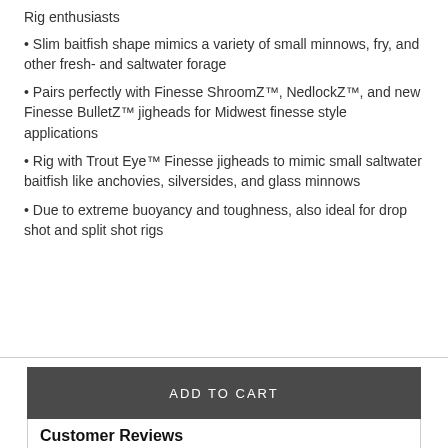Rig enthusiasts
• Slim baitfish shape mimics a variety of small minnows, fry, and other fresh- and saltwater forage
• Pairs perfectly with Finesse ShroomZ™, NedlockZ™, and new Finesse BulletZ™ jigheads for Midwest finesse style applications
• Rig with Trout Eye™ Finesse jigheads to mimic small saltwater baitfish like anchovies, silversides, and glass minnows
• Due to extreme buoyancy and toughness, also ideal for drop shot and split shot rigs
ADD TO CART
Customer Reviews